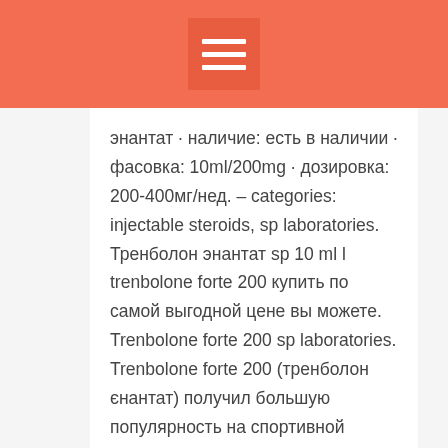энантат · наличие: есть в наличии · фасовка: 10ml/200mg · дозировка: 200-400мг/нед. – categories: injectable steroids, sp laboratories. Тренболон энантат sp 10 ml l trenbolone forte 200 купить по самой выгодной цене вы можете. Trenbolone forte 200 sp laboratories. Trenbolone forte 200 (тренболон єнантат) получил большую популярность на спортивной арене, благодаря своим полезным. ОО , sp trenbolone 75. It is a very strong anabolic with high androgenic activity: 400% and 200% of endogenous testosterone,